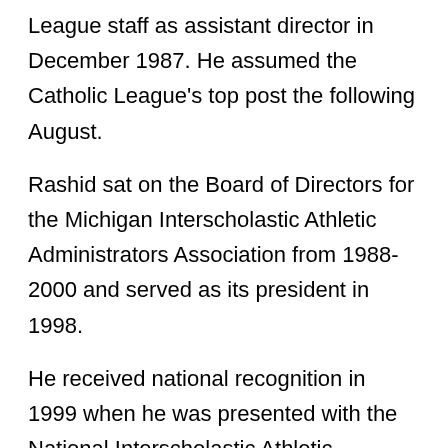League staff as assistant director in December 1987. He assumed the Catholic League's top post the following August.
Rashid sat on the Board of Directors for the Michigan Interscholastic Athletic Administrators Association from 1988-2000 and served as its president in 1998.
He received national recognition in 1999 when he was presented with the National Interscholastic Athletic Administrators Association's State Award of Merit. In 2001, Rashid was honored with the MHSAA's Allen W. Bush Award, which recognizes noteworthy behind the scenes support to interscholastic